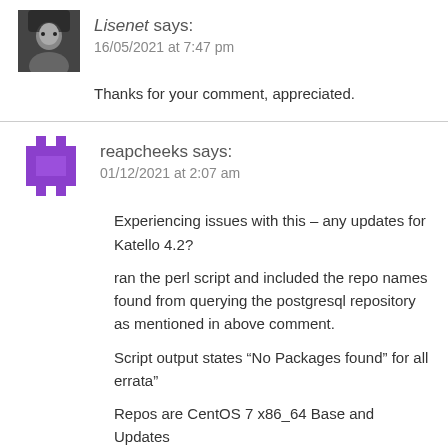[Figure (photo): Avatar photo of user Lisenet, dark themed portrait]
Lisenet says:
16/05/2021 at 7:47 pm
Thanks for your comment, appreciated.
[Figure (illustration): Purple pixel/game avatar icon for user reapcheeks]
reapcheeks says:
01/12/2021 at 2:07 am
Experiencing issues with this – any updates for Katello 4.2?
ran the perl script and included the repo names found from querying the postgresql repository as mentioned in above comment.
Script output states “No Packages found” for all errata”
Repos are CentOS 7 x86_64 Base and Updates
Foreman 3.0.1
Katello 4.2